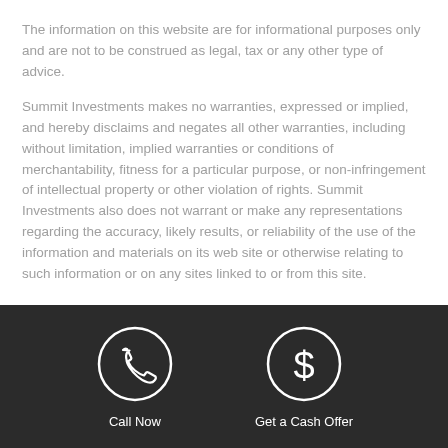The information on this website are for informational purposes only and are not to be construed as legal, tax or any other type of advice.
Summit Investments makes no warranties, expressed or implied, and hereby disclaims and negates all other warranties, including without limitation, implied warranties or conditions of merchantability, fitness for a particular purpose, or non-infringement of intellectual property or other violation of rights. Summit Investments also does not warrant or make any representations regarding the accuracy, likely results, or reliability of the use of the information and materials on its web site or otherwise relating to such information or on any sites linked to or from this site.
[Figure (infographic): Dark footer bar with two circular icon buttons: a phone icon labeled 'Call Now' and a dollar sign icon labeled 'Get a Cash Offer']